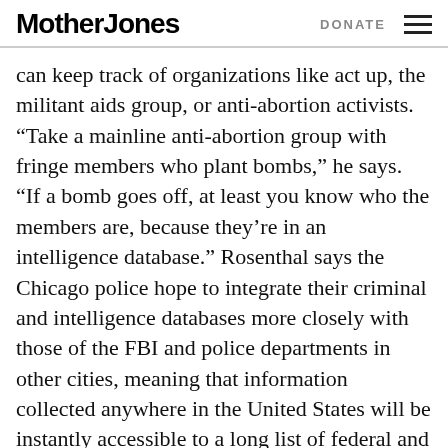Mother Jones | DONATE
can keep track of organizations like act up, the militant aids group, or anti-abortion activists. “Take a mainline anti-abortion group with fringe members who plant bombs,” he says. “If a bomb goes off, at least you know who the members are, because they’re in an intelligence database.” Rosenthal says the Chicago police hope to integrate their criminal and intelligence databases more closely with those of the FBI and police departments in other cities, meaning that information collected anywhere in the United States will be instantly accessible to a long list of federal and local agencies. “Take the case of a demonstration against the World Trade Organization,” he says. “The responsible thing